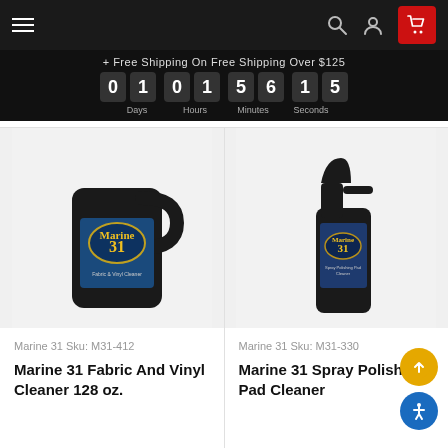Navigation bar with hamburger menu, search, account, and cart icons
+ Free Shipping On Free Shipping Over $125
01 01 56 15 — Days Hours Minutes Seconds
[Figure (photo): Marine 31 Fabric And Vinyl Cleaner 128 oz. black gallon jug product photo]
Marine 31 Sku: M31-412
Marine 31 Fabric And Vinyl Cleaner 128 oz.
[Figure (photo): Marine 31 Spray Polishing Pad Cleaner black spray bottle product photo]
Marine 31 Sku: M31-330
Marine 31 Spray Polishing Pad Cleaner